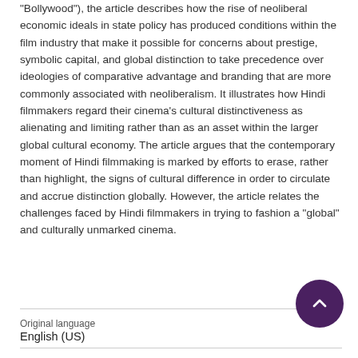"Bollywood"), the article describes how the rise of neoliberal economic ideals in state policy has produced conditions within the film industry that make it possible for concerns about prestige, symbolic capital, and global distinction to take precedence over ideologies of comparative advantage and branding that are more commonly associated with neoliberalism. It illustrates how Hindi filmmakers regard their cinema's cultural distinctiveness as alienating and limiting rather than as an asset within the larger global cultural economy. The article argues that the contemporary moment of Hindi filmmaking is marked by efforts to erase, rather than highlight, the signs of cultural difference in order to circulate and accrue distinction globally. However, the article relates the challenges faced by Hindi filmmakers in trying to fashion a "global" and culturally unmarked cinema.
| Original language |  |
| English (US) |  |
| Pages (from-to) |  |
| 340-365 |  |